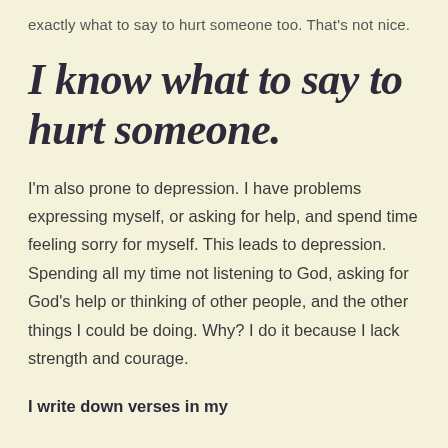exactly what to say to hurt someone too. That's not nice.
I know what to say to hurt someone.
I'm also prone to depression. I have problems expressing myself, or asking for help, and spend time feeling sorry for myself. This leads to depression. Spending all my time not listening to God, asking for God's help or thinking of other people, and the other things I could be doing. Why? I do it because I lack strength and courage.
I write down verses in my